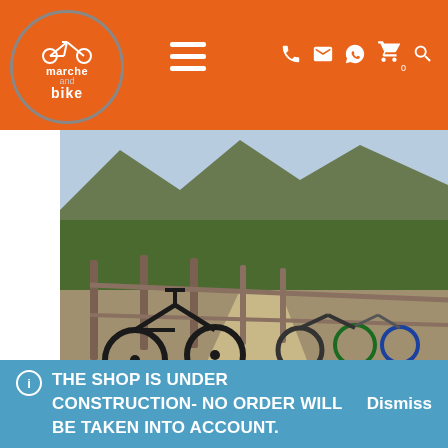marche and bike — navigation header with hamburger menu, phone, email, WhatsApp, cart (0), and search icons
[Figure (photo): Mountain bikes leaning against a wooden fence railing on a rocky trail with mountains and forest in the background. Location: Reserve of the Furlo Gorge.]
RESERVE OF THE FURLO GORGE.
The Candigliano river, with its flow, has cut the
Cookies are used to improve the site navigation. By clicking
THE SHOP IS UNDER CONSTRUCTION- NO ORDER WILL BE TAKEN INTO ACCOUNT.    Dismiss